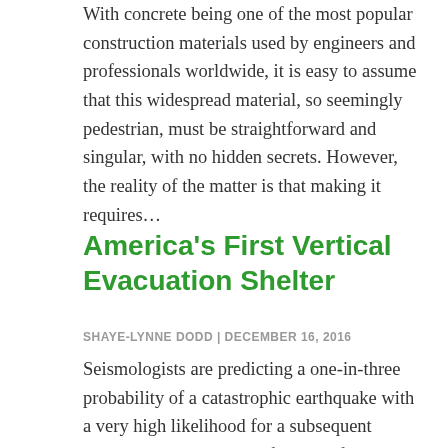With concrete being one of the most popular construction materials used by engineers and professionals worldwide, it is easy to assume that this widespread material, so seemingly pedestrian, must be straightforward and singular, with no hidden secrets. However, the reality of the matter is that making it requires...
America's First Vertical Evacuation Shelter
SHAYE-LYNNE DODD | DECEMBER 16, 2016
Seismologists are predicting a one-in-three probability of a catastrophic earthquake with a very high likelihood for a subsequent tsunami to hit the coast of the Pacific Northwest within the next 50 years. With the majority of the coast wholly unprepared, a few places are taking steps to prepare...